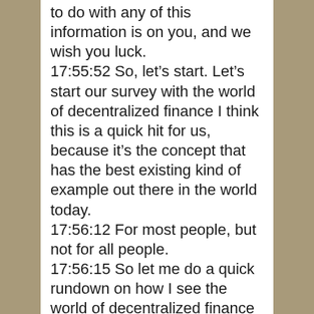to do with any of this information is on you, and we wish you luck. 17:55:52 So, let's start. Let's start our survey with the world of decentralized finance I think this is a quick hit for us, because it's the concept that has the best existing kind of example out there in the world today. 17:56:12 For most people, but not for all people. 17:56:15 So let me do a quick rundown on how I see the world of decentralized finance today. 17:56:22 Today you want to get a loan or deposit cash and an account and maybe get a decent interest rate let's start with depositing cash. When you love to deposit cash in an account and get a decent